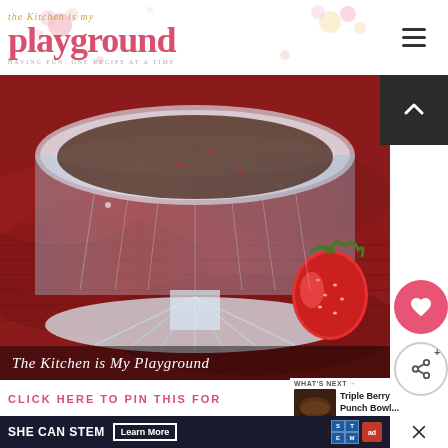[Figure (logo): The Kitchen is My Playground blog logo with decorative flowers]
[Figure (photo): Crystal glass dessert bowl on red fabric with a strawberry, watermark text 'The Kitchen is My Playground']
CLICK HERE TO PIN THIS FOR
WHAT'S NEXT → Triple Berry Punch Bowl...
[Figure (screenshot): SHE CAN STEM advertisement banner with Learn More button, STEM logo, and Ad Council logo]